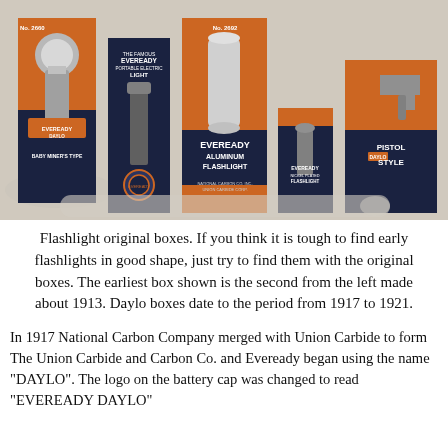[Figure (photo): A photograph showing five vintage flashlight original boxes from Eveready/Daylo brand. Left to right: No. 2660 Baby Miner's Type (orange and dark blue box), The Famous Eveready Portable Electric Light (dark blue box with flashlight image), No. 2692 Eveready Aluminum Flashlight (orange and dark blue box), Eveready Nickel Plated Flashlight (small dark blue box), and Pistol Daylo Style (orange and dark blue box showing pistol-shaped flashlight). Boxes are displayed standing upright against a light background.]
Flashlight original boxes. If you think it is tough to find early flashlights in good shape, just try to find them with the original boxes. The earliest box shown is the second from the left made about 1913. Daylo boxes date to the period from 1917 to 1921.
In 1917 National Carbon Company merged with Union Carbide to form The Union Carbide and Carbon Co. and Eveready began using the name "DAYLO". The logo on the battery cap was changed to read "EVEREADY DAYLO"